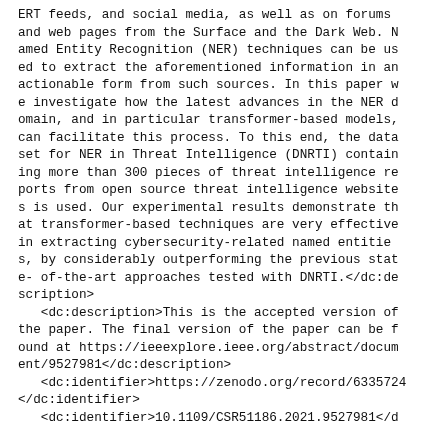ERT feeds, and social media, as well as on forums and web pages from the Surface and the Dark Web. Named Entity Recognition (NER) techniques can be used to extract the aforementioned information in an actionable form from such sources. In this paper we investigate how the latest advances in the NER domain, and in particular transformer-based models, can facilitate this process. To this end, the data set for NER in Threat Intelligence (DNRTI) containing more than 300 pieces of threat intelligence reports from open source threat intelligence websites is used. Our experimental results demonstrate that transformer-based techniques are very effective in extracting cybersecurity-related named entities, by considerably outperforming the previous state- of-the-art approaches tested with DNRTI.</dc:description>
    <dc:description>This is the accepted version of the paper. The final version of the paper can be found at https://ieeexplore.ieee.org/abstract/document/9527981</dc:description>
    <dc:identifier>https://zenodo.org/record/6335724</dc:identifier>
    <dc:identifier>10.1109/CSR51186.2021.9527981</d